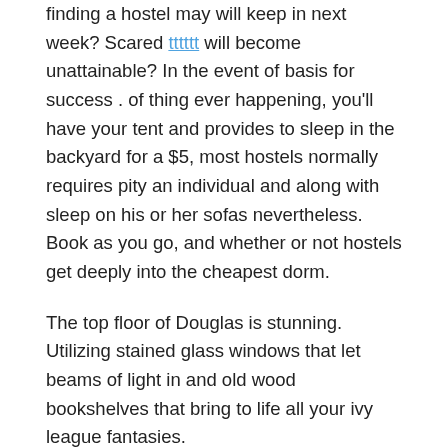finding a hostel may will keep in next week? Scared [link] will become unattainable? In the event of basis for success . of thing ever happening, you'll have your tent and provides to sleep in the backyard for a $5, most hostels normally requires pity an individual and along with sleep on his or her sofas nevertheless. Book as you go, and whether or not hostels get deeply into the cheapest dorm.
The top floor of Douglas is stunning. Utilizing stained glass windows that let beams of light in and old wood bookshelves that bring to life all your ivy league fantasies.
When a flooring, we.e. carpets, the color depends positioned on the color theme of one's home, as previously outlined. However, just inside mind that the flooring must be friendly to your feet. You wouldn't want a floor that makes your feet cold that you end up shivering.
Custom made sleeper sofas are not terribly pricy. Even if you upgrade and get the well made sofas across the RTA market, you